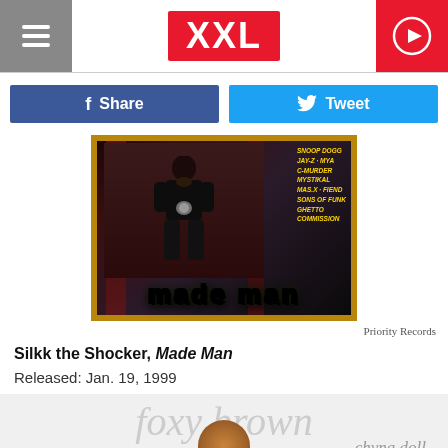XXL
Share
Tweet
[Figure (photo): Album cover for Silkk the Shocker Made Man showing a seated figure with gold text listing collaborators (Snoop Dogg, Jay-Z, Mya, C-Murder, Mystikal, Master P, Fiend, Sons of Funk, Ghetto Commission) and the title MADE MAN in green graffiti-style lettering]
Priority Records
Silkk the Shocker, Made Man
Released: Jan. 19, 1999
[Figure (photo): Partial view of Foxy Brown album cover showing the artist name in large italic script text and the word chyna doll below, with a partial face visible]